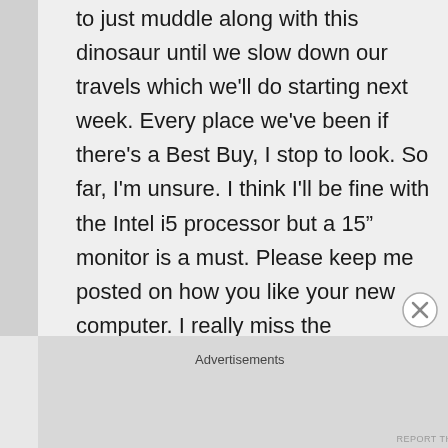to just muddle along with this dinosaur until we slow down our travels which we'll do starting next week. Every place we've been if there's a Best Buy, I stop to look. So far, I'm unsure. I think I'll be fine with the Intel i5 processor but a 15" monitor is a must. Please keep me posted on how you like your new computer. I really miss the blogosphere and look forward to returning, but need a new computer first 🙂
Advertisements